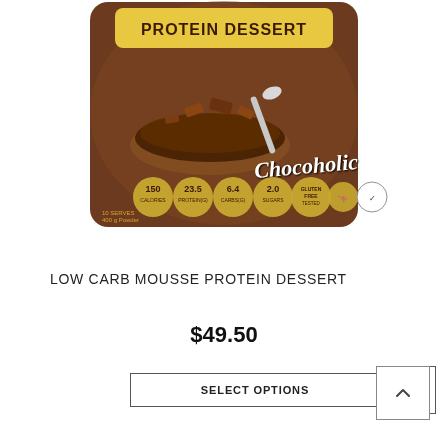[Figure (photo): Product photo of a brown pouch bag labeled 'Protein Dessert Chocoholic' with chocolate mousse in a bowl and nutrition badges showing 150 calories, 23.5g protein, 6.4g carbs, 2.0g sugars, gluten free tested, and Australia made. 10 serves, 400g powder.]
LOW CARB MOUSSE PROTEIN DESSERT
$49.50
SELECT OPTIONS